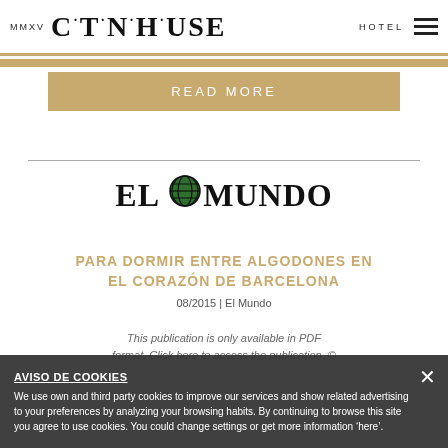MMXV COTTON·HOUSE HOTEL
READ MORE
[Figure (logo): El Mundo newspaper logo with globe icon replacing the O]
PARA DORMIR ENTRE ALGODONES EN EL CORAZÓN DE BARCELONA
08/2015 | El Mundo
This publication is only available in PDF format. Click here to access the publication. ©
AVISO DE COOKIES
We use own and third party cookies to improve our services and show related advertising to your preferences by analyzing your browsing habits. By continuing to browse this site you agree to use cookies. You could change settings or get more information 'here'.